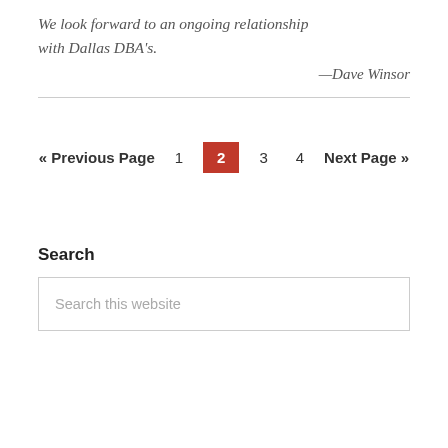We look forward to an ongoing relationship with Dallas DBA's.
—Dave Winsor
« Previous Page  1  2  3  4  Next Page »
Search
Search this website